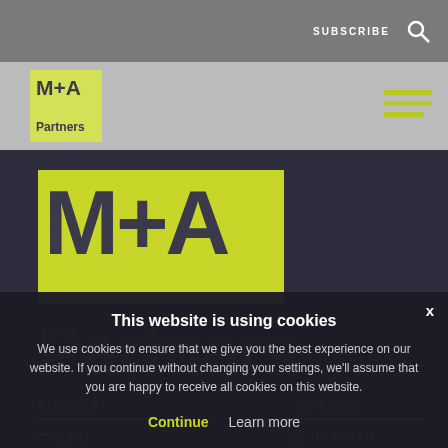SUBSCRIBE
[Figure (logo): M+A Partners logo in nav bar with yellow-green background block]
M+A Partners
SITEMAP
OFFICES
Contact
NORWICH
7 The Close
News
This website is using cookies
We use cookies to ensure that we give you the best experience on our website. If you continue without changing your settings, we'll assume that you are happy to receive all cookies on this website.
Continue  Learn more